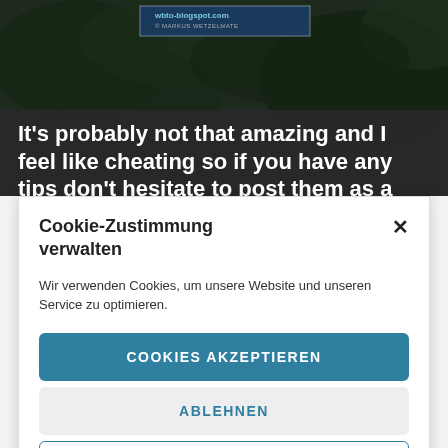[Figure (screenshot): Dark background with plant/nature photograph and blog header overlay]
It's probably not that amazing and I feel like cheating so if you have any tips don't hesitate to post them as a comment!
Cookie-Zustimmung verwalten
Wir verwenden Cookies, um unsere Website und unseren Service zu optimieren.
COOKIES AKZEPTIEREN
ABLEHNEN
EINSTELLUNGEN ANZEIGEN